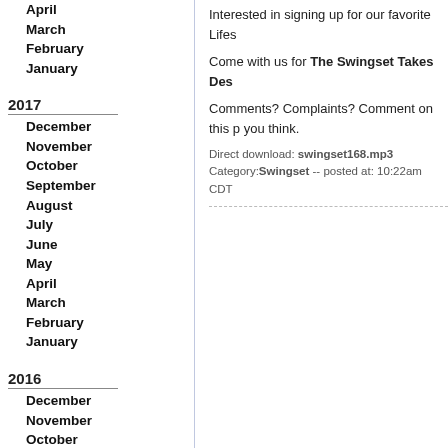April
March
February
January
2017
December
November
October
September
August
July
June
May
April
March
February
January
2016
December
November
October
September
August
July
June
May
April
March
February
January
Interested in signing up for our favorite Lifes
Come with us for The Swingset Takes Des
Comments? Complaints? Comment on this p you think.
Direct download: swingset168.mp3
Category: Swingset -- posted at: 10:22am CDT